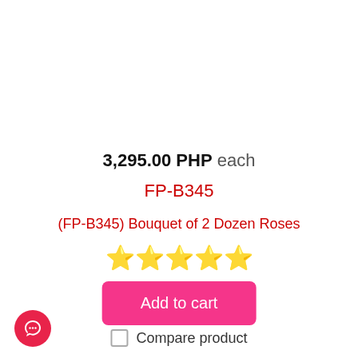3,295.00 PHP each
FP-B345
(FP-B345) Bouquet of 2 Dozen Roses
[Figure (other): Five gold star rating icons]
Add to cart
Compare product
[Figure (other): Pink circular chat/support button icon in bottom left corner]